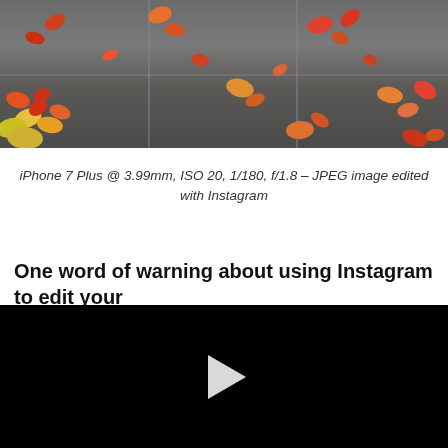[Figure (photo): Top-down photo of a dark grey concrete sidewalk with autumn leaves (red, orange, yellow maple leaves) scattered across the surface. The sidewalk has visible tile/slab divisions.]
iPhone 7 Plus @ 3.99mm, ISO 20, 1/180, f/1.8 – JPEG image edited with Instagram
One word of warning about using Instagram to edit your
[Figure (screenshot): Black video player area with a white play button triangle in the center]